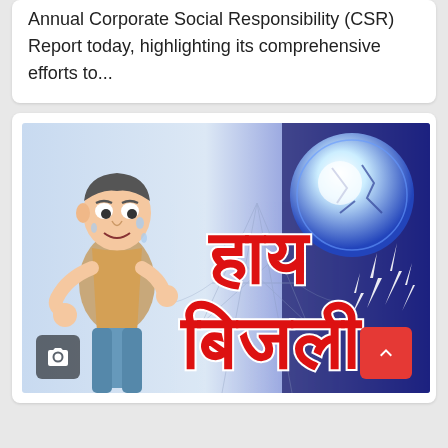Annual Corporate Social Responsibility (CSR) Report today, highlighting its comprehensive efforts to...
[Figure (illustration): Illustrated image with Hindi text 'Hay Bijli' (हाय बिजली) meaning electricity crisis. Shows a cartoon man sweating next to electricity towers and lightning bolts on a blue background. Red camera button in bottom-left and red scroll-to-top button in bottom-right.]